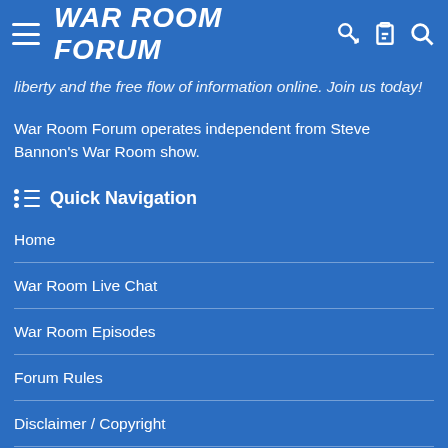WAR ROOM FORUM
liberty and the free flow of information online. Join us today!
War Room Forum operates independent from Steve Bannon's War Room show.
Quick Navigation
Home
War Room Live Chat
War Room Episodes
Forum Rules
Disclaimer / Copyright
Contact Us